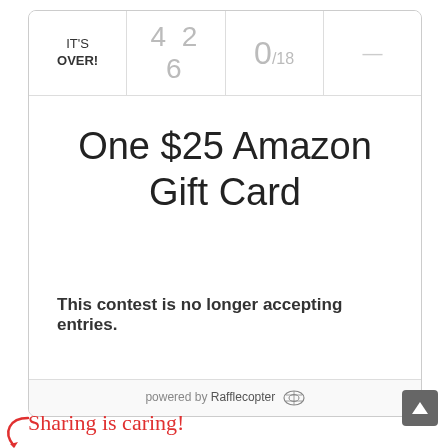IT'S OVER!
4 2 6
0/18
One $25 Amazon Gift Card
This contest is no longer accepting entries.
powered by Rafflecopter
Sharing is caring!